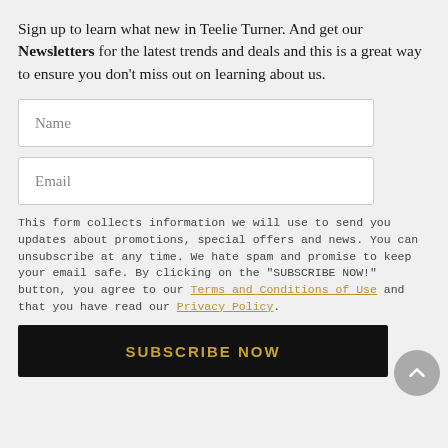Sign up to learn what new in Teelie Turner. And get our Newsletters for the latest trends and deals and this is a great way to ensure you don't miss out on learning about us.
Name
Email
This form collects information we will use to send you updates about promotions, special offers and news. You can unsubscribe at any time. We hate spam and promise to keep your email safe. By clicking on the "SUBSCRIBE NOW!" button, you agree to our Terms and Conditions of Use and that you have read our Privacy Policy.
SUBSCRIBE NOW